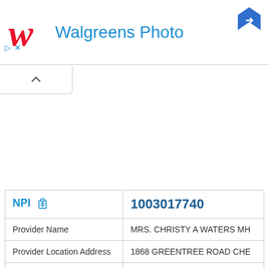[Figure (logo): Walgreens Photo logo with red W icon and blue text 'Walgreens Photo', navigation arrow icon top-right, play/close controls bottom-left]
| Field | Value |
| --- | --- |
| NPI | 1003017740 |
| Provider Name | MRS. CHRISTY A WATERS MH... |
| Provider Location Address | 1868 GREENTREE ROAD CHE... |
| Provider Mailing Address | 177 WILD OAKS DR SALEM, N... |